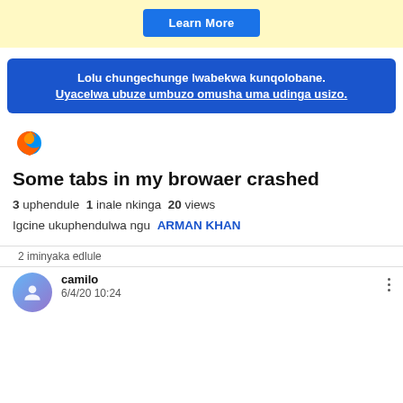[Figure (screenshot): Yellow banner with a blue 'Learn More' button]
Lolu chungechunge lwabekwa kunqolobane. Uyacelwa ubuze umbuzo omusha uma udinga usizo.
[Figure (logo): Firefox browser logo (flame around a globe)]
Some tabs in my browaer crashed
3 uphendule  1 inale nkinga  20 views
Igcine ukuphendulwa ngu ARMAN KHAN
2 iminyaka edlule
camilo
6/4/20 10:24